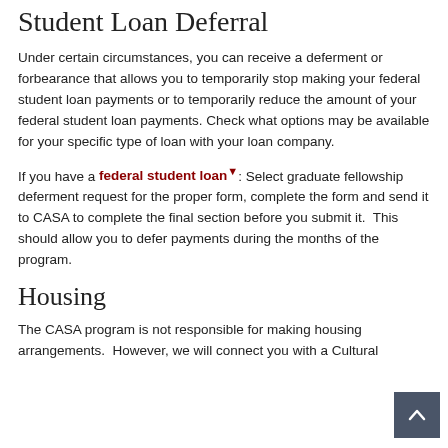Student Loan Deferral
Under certain circumstances, you can receive a deferment or forbearance that allows you to temporarily stop making your federal student loan payments or to temporarily reduce the amount of your federal student loan payments. Check what options may be available for your specific type of loan with your loan company.
If you have a federal student loan: Select graduate fellowship deferment request for the proper form, complete the form and send it to CASA to complete the final section before you submit it.  This should allow you to defer payments during the months of the program.
Housing
The CASA program is not responsible for making housing arrangements.  However, we will connect you with a Cultural